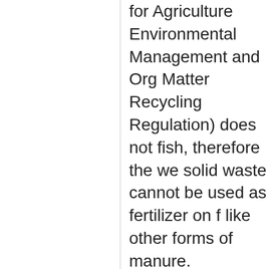for Agriculture Environmental Management and Organic Matter Recycling Regulation) does not include fish, therefore the wet solid waste cannot be used as fertilizer on fields like other forms of manure.
Discharge from floating closed containment equipment may be different than traditional marine-based net-pen and becomes a bigger issue.